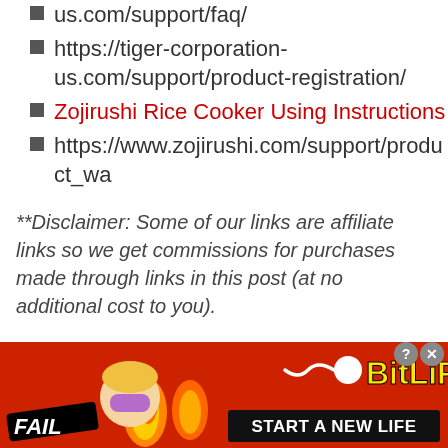us.com/support/faq/
https://tiger-corporation-us.com/support/product-registration/
Zojirushi Rice Cooker Using Instructions
https://www.zojirushi.com/support/product_wa...
**Disclaimer: Some of our links are affiliate links so we get commissions for purchases made through links in this post (at no additional cost to you).
[Figure (advertisement): BitLife mobile game advertisement banner with red background, FAIL text, cartoon character facepalming, flame, sperm icon, BitLife logo in yellow, and 'START A NEW LIFE' button. Close and question mark buttons in top right corner.]